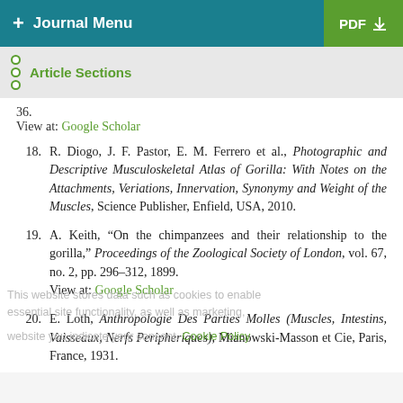+ Journal Menu   PDF ↓
Article Sections
36.
View at: Google Scholar
18. R. Diogo, J. F. Pastor, E. M. Ferrero et al., Photographic and Descriptive Musculoskeletal Atlas of Gorilla: With Notes on the Attachments, Veriations, Innervation, Synonymy and Weight of the Muscles, Science Publisher, Enfield, USA, 2010.
19. A. Keith, "On the chimpanzees and their relationship to the gorilla," Proceedings of the Zoological Society of London, vol. 67, no. 2, pp. 296–312, 1899.
View at: Google Scholar
20. E. Loth, Anthropologie Des Parties Molles (Muscles, Intestins, Vaisseaux, Nerfs Peripheriques), Mianowski-Masson et Cie, Paris, France, 1931.